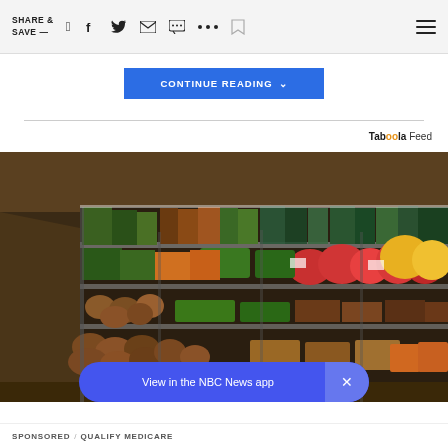SHARE & SAVE —
CONTINUE READING
Taboola Feed
[Figure (photo): Grocery store produce aisle with colorful vegetables and fruits on shelves, including peppers, potatoes, carrots, and greens.]
View in the NBC News app
SPONSORED / QUALIFY MEDICARE